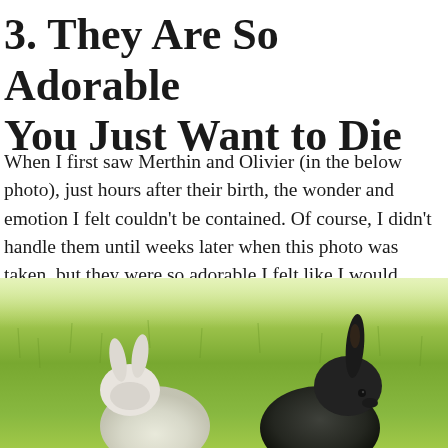3. They Are So Adorable You Just Want to Die
When I first saw Merthin and Olivier (in the below photo), just hours after their birth, the wonder and emotion I felt couldn't be contained. Of course, I didn't handle them until weeks later when this photo was taken, but they were so adorable I felt like I would throw myself in front of a truck to save their lives.
[Figure (photo): Two young rabbits on grass — one white/light-colored on the left, one black on the right — sitting outdoors on green grass in bright daylight.]